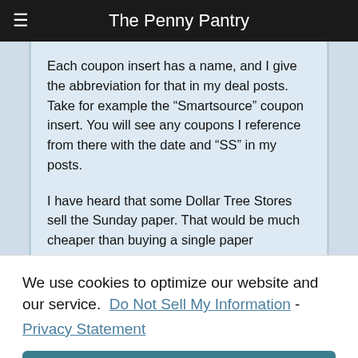The Penny Pantry
Each coupon insert has a name, and I give the abbreviation for that in my deal posts. Take for example the “Smartsource” coupon insert. You will see any coupons I reference from there with the date and “SS” in my posts.
I have heard that some Dollar Tree Stores sell the Sunday paper. That would be much cheaper than buying a single paper elsewhere. Home Delivery deals are plentiful, too. I
We use cookies to optimize our website and our service.  Do Not Sell My Information  -
Privacy Statement
Accept